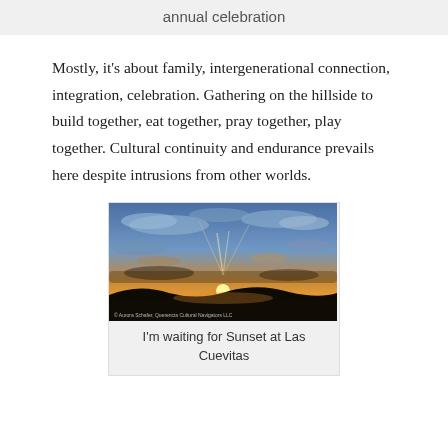annual celebration
Mostly, it's about family, intergenerational connection, integration, celebration. Gathering on the hillside to build together, eat together, pray together, play together. Cultural continuity and endurance prevails here despite intrusions from other worlds.
[Figure (photo): Sunset landscape photograph showing sun setting low on the horizon over dark hills, with dramatic cloudy sky illuminated in oranges and yellows. Small copyright text reads: © Aurora Schafer, Querencia Cultural Navigators LLC]
I'm waiting for Sunset at Las Cuevitas